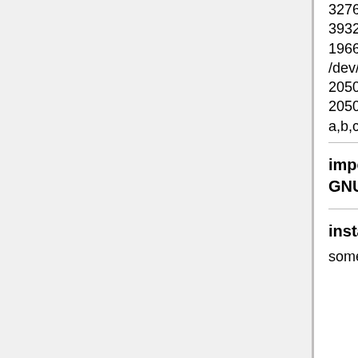327679 196608 c swap1 c 0 832526 832527 a,b,d,e,f,g,h d 327680 393215 65536 c /var e 589824 832526 242703 c swap2 f 393216 589823 196608 c /home g 0 0 0 a,c,h h 0 0 0 a,c,g bash-2.05b# chpt -q /dev/rrz1a /dev/rrz1a Current partition table: partition bottom top size overlap a 0 2050859 2050860 b,c,d,e,f,g,h /usr b 0 0 0 a,c,d,e,f,g,h c 0 2050859 2050860 a,b,d,e,f,g,h d 0 0 0 a,b,c,e,f,g,h e 0 0 0 a,b,c,d,f,g,h f 0 0 0 a,b,c,d,e,g,h g 0 0 0 a,b,c,d,e,f,h h 0 0 0 a,b,c,d,e,f,g
important note: the ULTRIX kernel cannot be built with any GNU tools in the path
installing ULTRIX 4.0 RISC
some save sets were unreadable from